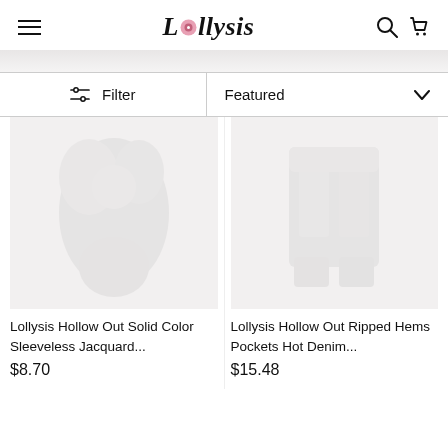Lollysis
Filter
Featured
[Figure (photo): Product image: Lollysis Hollow Out Solid Color Sleeveless Jacquard item on light background]
Lollysis Hollow Out Solid Color Sleeveless Jacquard...
$8.70
[Figure (photo): Product image: Lollysis Hollow Out Ripped Hems Pockets Hot Denim item on light background]
Lollysis Hollow Out Ripped Hems Pockets Hot Denim...
$15.48